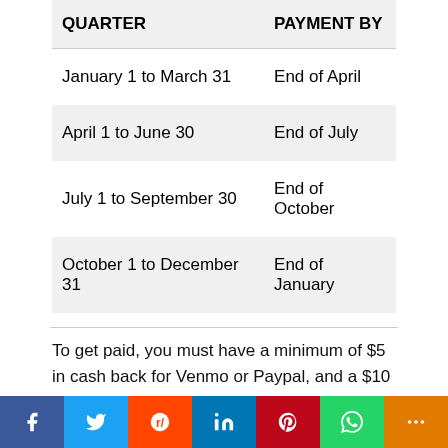| QUARTER | PAYMENT BY |
| --- | --- |
| January 1 to March 31 | End of April |
| April 1 to June 30 | End of July |
| July 1 to September 30 | End of October |
| October 1 to December 31 | End of January |
To get paid, you must have a minimum of $5 in cash back for Venmo or Paypal, and a $10 minimum for paper checks. If you didn't reach the minimum for the quarter,